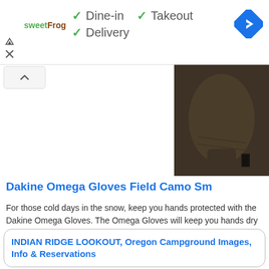[Figure (screenshot): Top banner with sweetFrog logo, dine-in/takeout/delivery checkmarks, and blue navigation arrow icon]
[Figure (photo): Dark olive/brown Dakine Omega Gloves product photo showing the back of a glove]
Dakine Omega Gloves Field Camo Sm
For those cold days in the snow, keep you hands protected with the Dakine Omega Gloves. The Omega Gloves will keep you hands dry and warm so you can e ...
View All Shopping Items
INDIAN RIDGE LOOKOUT, Oregon Campground Images, Info & Reservations